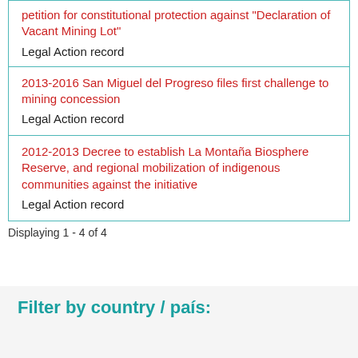| Title | Type |
| --- | --- |
| petition for constitutional protection against "Declaration of Vacant Mining Lot" | Legal Action record |
| 2013-2016 San Miguel del Progreso files first challenge to mining concession | Legal Action record |
| 2012-2013 Decree to establish La Montaña Biosphere Reserve, and regional mobilization of indigenous communities against the initiative | Legal Action record |
Displaying 1 - 4 of 4
Filter by country / país: